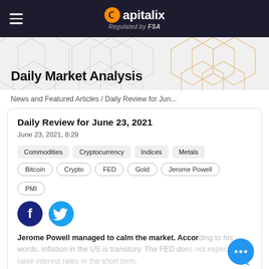Capitalix — Regulated by FSA
Daily Market Analysis
News and Featured Articles / Daily Review for Jun...
Daily Review for June 23, 2021
June 23, 2021, 8:29
Commodities
Cryptocurrency
Indices
Metals
Bitcoin
Crypto
FED
Gold
Jerome Powell
PMI
Jerome Powell managed to calm the market. According to his words, inflation in the US is transitory. The FED does not expect to raise interest rates in the short term.